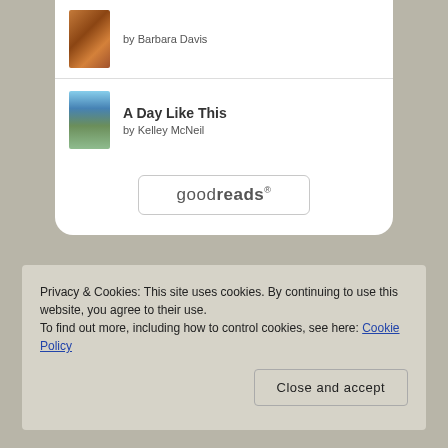[Figure (illustration): Book cover for 'The Keeper of Happy Endings' by Barbara Davis — warm brown and orange tones]
by Barbara Davis
[Figure (illustration): Book cover for 'A Day Like This' by Kelley McNeil — blue sky and green landscape tones]
A Day Like This
by Kelley McNeil
[Figure (logo): goodreads button/logo]
Privacy & Cookies: This site uses cookies. By continuing to use this website, you agree to their use.
To find out more, including how to control cookies, see here: Cookie Policy
Close and accept